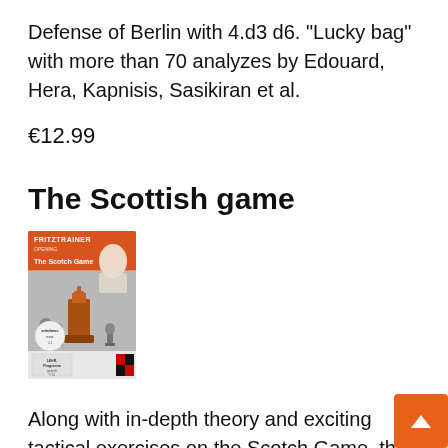Defense of Berlin with 4.d3 d6. “Lucky bag” with more than 70 analyzes by Edouard, Hera, Kapnisis, Sasikiran et al.
€12.99
The Scottish game
[Figure (photo): Product box cover for chess training video 'The Scotch Game' from FritzTrainer series, showing a woman and a chess king piece on a chess board background. Orange and grey colors.]
Along with in-depth theory and exciting tactical exercises on the Scotch Game, this video course also includes a bonus section on the Scotch